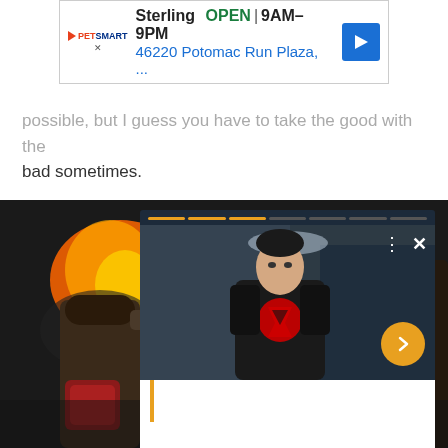[Figure (screenshot): PetSmart advertisement banner showing store name Sterling, OPEN status, hours 9AM-9PM, address 46220 Potomac Run Plaza, with navigation arrow icon]
possible, but I guess you have to take the good with the bad sometimes.
[Figure (screenshot): Background action scene from what appears to be a superhero movie/show with explosions, overlaid with a popup card showing a young man in a Superman-logo jacket, progress bar segments, three-dots menu, X close button, and a gold next/forward arrow button]